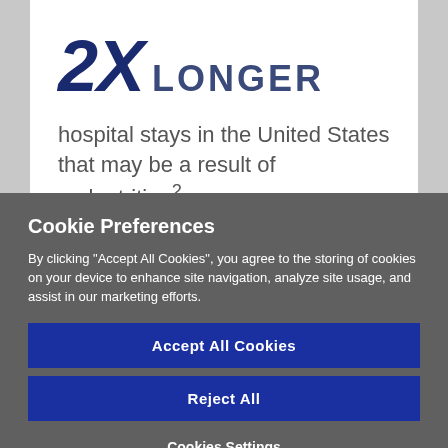2X LONGER
hospital stays in the United States that may be a result of malnutrition²
Cookie Preferences
By clicking "Accept All Cookies", you agree to the storing of cookies on your device to enhance site navigation, analyze site usage, and assist in our marketing efforts.
Accept All Cookies
Reject All
Cookies Settings